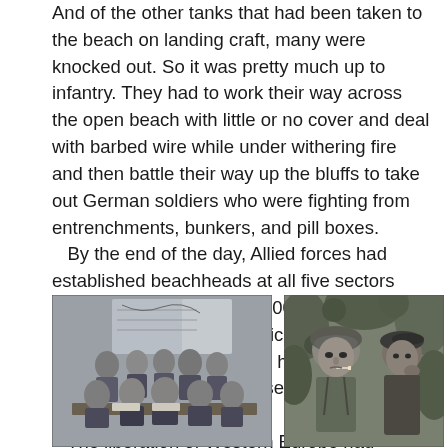And of the other tanks that had been taken to the beach on landing craft, many were knocked out. So it was pretty much up to infantry. They had to work their way across the open beach with little or no cover and deal with barbed wire while under withering fire and then battle their way up the bluffs to take out German soldiers who were fighting from entrenchments, bunkers, and pill boxes.
   By the end of the day, Allied forces had established beachheads at all five sectors and had landed over 156,000 troops in France. But it came at a price. Allied casualties are estimated to have been over 10,000 on that day. Of those, 4400 were killed in action.
   The liberation of Western Europe had begun.
[Figure (photo): Black and white photograph of a group of military officers seated and standing around a table with maps on the wall behind them.]
[Figure (photo): Black and white photograph of soldiers, one wearing a helmet with a cigarette in his mouth, another in a beret, in a wooded setting.]